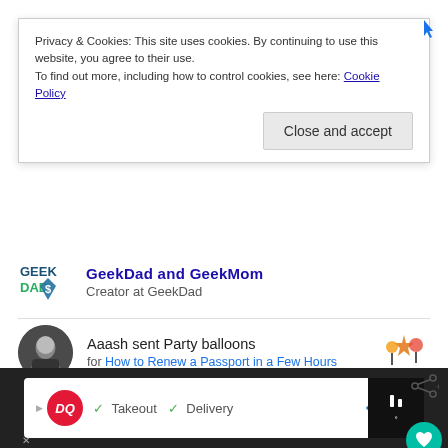Privacy & Cookies: This site uses cookies. By continuing to use this website, you agree to their use.
To find out more, including how to control cookies, see here: Cookie Policy
Close and accept
GeekDad and GeekMom
Creator at GeekDad
Aaash sent Party balloons
for How to Renew a Passport in a Few Hours
Candice sent Party balloons
for Kickstarter Alert: Build Your Own Dungeon ...
View all thanks
DQ  ✓ Takeout  ✓ Delivery